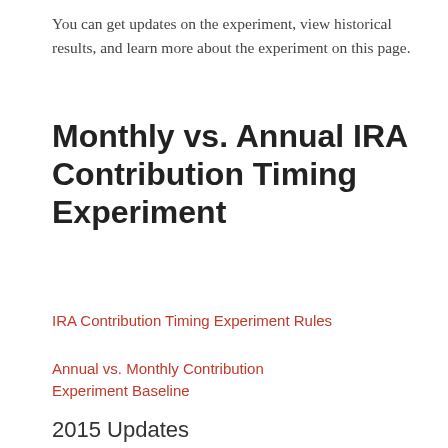You can get updates on the experiment, view historical results, and learn more about the experiment on this page.
Monthly vs. Annual IRA Contribution Timing Experiment
IRA Contribution Timing Experiment Rules
Annual vs. Monthly Contribution Experiment Baseline
2015 Updates